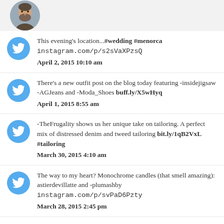[Figure (photo): Profile photo of a bearded man, circular crop, shown at top of page]
This evening's location...#wedding #menorca instagram.com/p/s2sVaXPzsQ
April 2, 2015 10:10 am
There's a new outfit post on the blog today featuring -insidejigsaw -AGJeans and -Moda_Shoes buff.ly/X5wHyq
April 1, 2015 8:55 am
-TheFrugality shows us her unique take on tailoring. A perfect mix of distressed denim and tweed tailoring bit.ly/1qB2VxL #tailoring
March 30, 2015 4:10 am
The way to my heart? Monochrome candles (that smell amazing): astierdevillatte and -plumashby instagram.com/p/svPaD6Pzty
March 28, 2015 2:45 pm